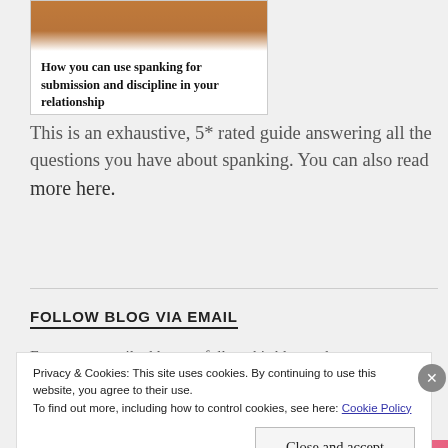[Figure (photo): Partial image of a brown leather shoe at the top of a white card]
How you can use spanking for submission and discipline in your relationship
This is an exhaustive, 5* rated guide answering all the questions you have about spanking. You can also read more here.
FOLLOW BLOG VIA EMAIL
Enter your email address to follow this blog and
Privacy & Cookies: This site uses cookies. By continuing to use this website, you agree to their use.
To find out more, including how to control cookies, see here: Cookie Policy